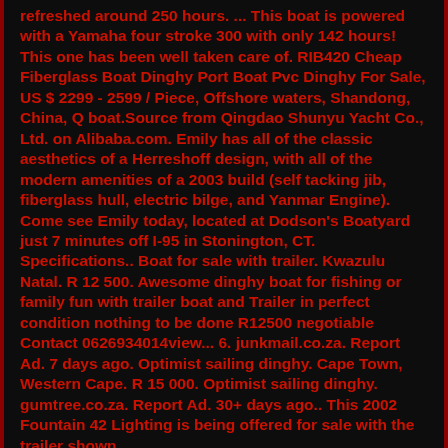refreshed around 250 hours. ... This boat is powered with a Yamaha four stroke 300 with only 142 hours! This one has been well taken care of. RIB420 Cheap Fiberglass Boat Dinghy Port Boat Pvc Dinghy For Sale, US $ 2299 - 2599 / Piece, Offshore waters, Shandong, China, Q boat.Source from Qingdao Shunyu Yacht Co., Ltd. on Alibaba.com. Emily has all of the classic aesthetics of a Herreshoff design, with all of the modern amenities of a 2003 build (self tacking jib, fiberglass hull, electric bilge, and Yanmar Engine). Come see Emily today, located at Dodson's Boatyard just 7 minutes off I-95 in Stonington, CT. Specifications.. Boat for sale with trailer. Kwazulu Natal. R 12 500. Awesome dinghy boat for fishing or family fun with trailer boat and Trailer in perfect condition nothing to be done R12500 negotiable Contact 0626934014view... 6. junkmail.co.za. Report Ad. 7 days ago. Optimist sailing dinghy. Cape Town, Western Cape. R 15 000. Optimist sailing dinghy. gumtree.co.za. Report Ad. 30+ days ago.. This 2002 Fountain 42 Lighting is being offered for sale with the trailer shown.